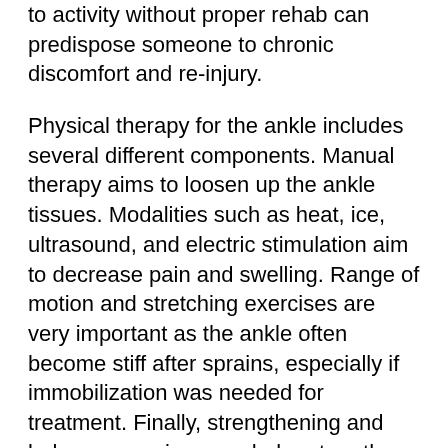to activity without proper rehab can predispose someone to chronic discomfort and re-injury.
Physical therapy for the ankle includes several different components. Manual therapy aims to loosen up the ankle tissues. Modalities such as heat, ice, ultrasound, and electric stimulation aim to decrease pain and swelling. Range of motion and stretching exercises are very important as the ankle often become stiff after sprains, especially if immobilization was needed for treatment. Finally, strengthening and balance exercises can help return the ankle to its baseline state prior to the injury or perhaps, even stronger!
Conclusion
With the above combination of treatments, ankle